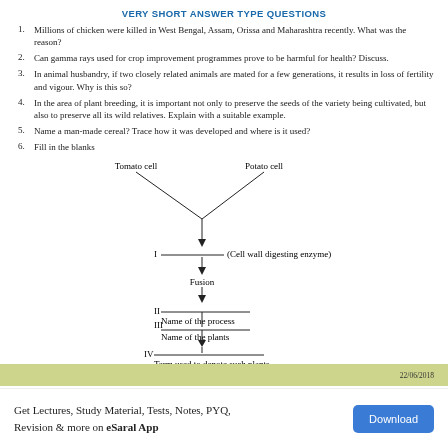VERY SHORT ANSWER TYPE QUESTIONS
Millions of chicken were killed in West Bengal, Assam, Orissa and Maharashtra recently. What was the reason?
Can gamma rays used for crop improvement programmes prove to be harmful for health? Discuss.
In animal husbandry, if two closely related animals are mated for a few generations, it results in loss of fertility and vigour. Why is this so?
In the area of plant breeding, it is important not only to preserve the seeds of the variety being cultivated, but also to preserve all its wild relatives. Explain with a suitable example.
Name a man-made cereal? Trace how it was developed and where is it used?
Fill in the blanks
[Figure (flowchart): Flowchart showing Tomato cell and Potato cell merging with I (Cell wall digesting enzyme), then arrow to Fusion, then arrow to II Name of the process, then arrow to III Name of the plants, then arrow to IV Term used to denote such plants]
22/06/2018
Get Lectures, Study Material, Tests, Notes, PYQ, Revision & more on eSaral App